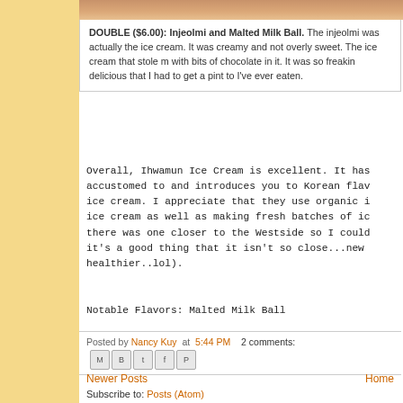[Figure (photo): Top edge of a food photo showing ice cream, cropped at top of visible area]
DOUBLE ($6.00): Injeolmi and Malted Milk Ball. The injeolmi was actually the ice cream. It was creamy and not overly sweet. The ice cream that stole my heart was the malted milk ball — with bits of chocolate in it. It was so freakin delicious that I had to get a pint to go. It was probably one of the best ice creams I've ever eaten.
Overall, Ihwamun Ice Cream is excellent. It has flavors that you're accustomed to and introduces you to Korean flavors all in the form of ice cream. I appreciate that they use organic ingredients for the ice cream as well as making fresh batches of ice cream daily. I wish there was one closer to the Westside so I could visit more often (although it's a good thing that it isn't so close...new year resolution to eat healthier..lol).
Notable Flavors: Malted Milk Ball
Posted by Nancy Kuy at 5:44 PM   2 comments:
Newer Posts
Home
Subscribe to: Posts (Atom)